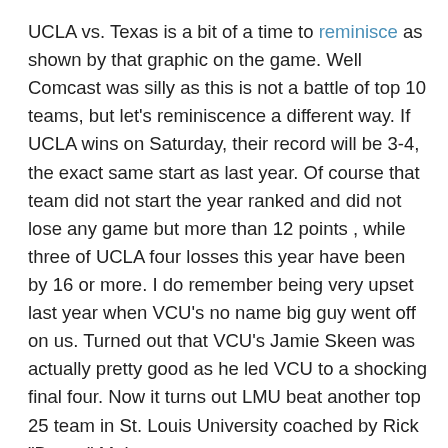UCLA vs. Texas is a bit of a time to reminisce as shown by that graphic on the game. Well Comcast was silly as this is not a battle of top 10 teams, but let's reminiscence a different way. If UCLA wins on Saturday, their record will be 3-4, the exact same start as last year. Of course that team did not start the year ranked and did not lose any game but more than 12 points , while three of UCLA four losses this year have been by 16 or more. I do remember being very upset last year when VCU's no name big guy went off on us. Turned out that VCU's Jamie Skeen was actually pretty good as he led VCU to a shocking final four. Now it turns out LMU beat another top 25 team in St. Louis University coached by Rick "Bacon" Majerus.